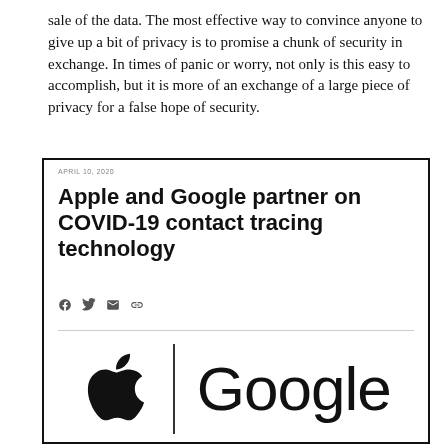sale of the data. The most effective way to convince anyone to give up a bit of privacy is to promise a chunk of security in exchange. In times of panic or worry, not only is this easy to accomplish, but it is more of an exchange of a large piece of privacy for a false hope of security.
[Figure (screenshot): Screenshot of a news article headline: 'Apple and Google partner on COVID-19 contact tracing technology' with a date of April 10, 2020, social sharing icons, a horizontal divider, and logos of Apple and Google side by side.]